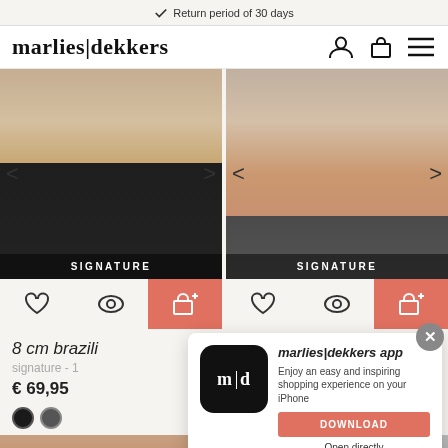Return period of 30 days
marlies|dekkers
[Figure (photo): Woman wearing black Brazilian-style underwear from behind, with SIGNATURE label overlay]
[Figure (photo): Woman wearing black thong/g-string underwear from behind, with SIGNATURE label overlay]
8 cm brazili
signature - 1
€ 69,95
[Figure (infographic): marlies|dekkers app popup with m|d app icon, download button, Open directly link, and 3127 star rating]
[Figure (photo): Bottom thumbnail images of lingerie products]